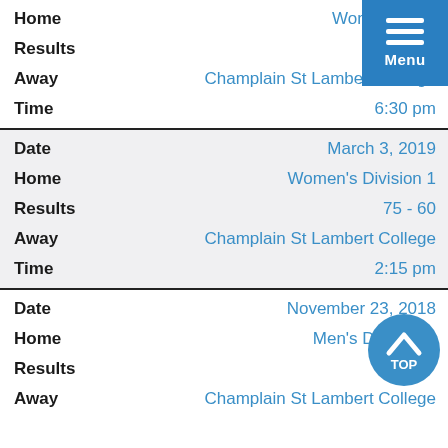| Field | Value |
| --- | --- |
| Home | Women's Division 1 |
| Results |  |
| Away | Champlain St Lambert College |
| Time | 6:30 pm |
| Date | March 3, 2019 |
| Home | Women's Division 1 |
| Results | 75 - 60 |
| Away | Champlain St Lambert College |
| Time | 2:15 pm |
| Date | November 23, 2018 |
| Home | Men's Division 1 |
| Results |  |
| Away | Champlain St Lambert College |